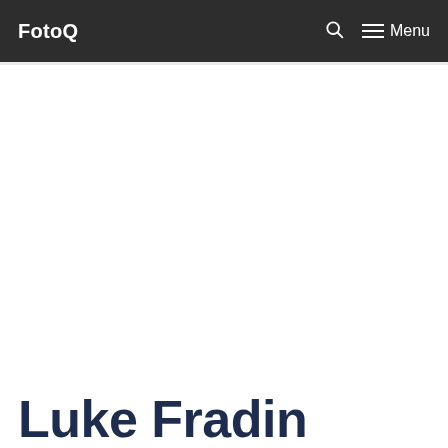FotoQ   🔍   ≡ Menu
Luke Fradin